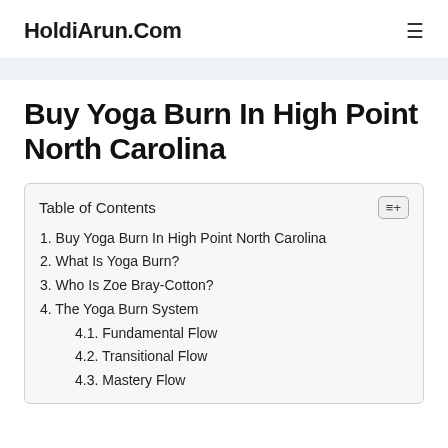HoldiArun.Com
Buy Yoga Burn In High Point North Carolina
| Table of Contents |
| --- |
| 1. Buy Yoga Burn In High Point North Carolina |
| 2. What Is Yoga Burn? |
| 3. Who Is Zoe Bray-Cotton? |
| 4. The Yoga Burn System |
| 4.1. Fundamental Flow |
| 4.2. Transitional Flow |
| 4.3. Mastery Flow |